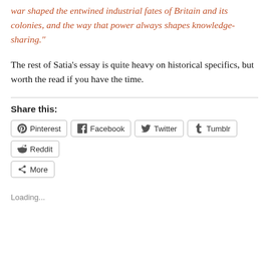war shaped the entwined industrial fates of Britain and its colonies, and the way that power always shapes knowledge-sharing.”
The rest of Satia’s essay is quite heavy on historical specifics, but worth the read if you have the time.
Share this:
Pinterest  Facebook  Twitter  Tumblr  Reddit  More
Loading...